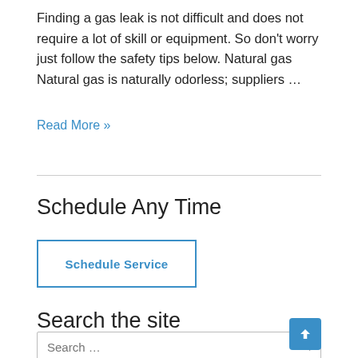Finding a gas leak is not difficult and does not require a lot of skill or equipment. So don't worry just follow the safety tips below. Natural gas Natural gas is naturally odorless; suppliers …
Read More »
Schedule Any Time
Schedule Service
Search the site
Search …